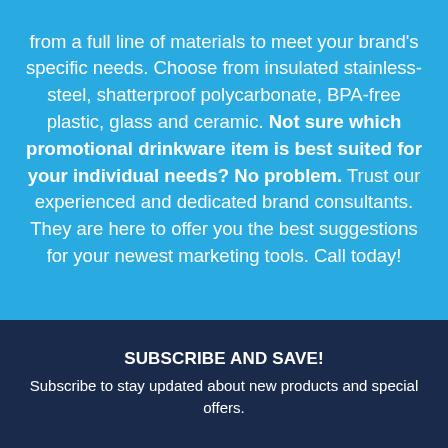from a full line of materials to meet your brand's specific needs. Choose from insulated stainless-steel, shatterproof polycarbonate, BPA-free plastic, glass and ceramic. Not sure which promotional drinkware item is best suited for your individual needs? No problem. Trust our experienced and dedicated brand consultants. They are here to offer you the best suggestions for your newest marketing tools. Call today!
SUBSCRIBE AND SAVE!
Subscribe to stay updated about new products and special offers.